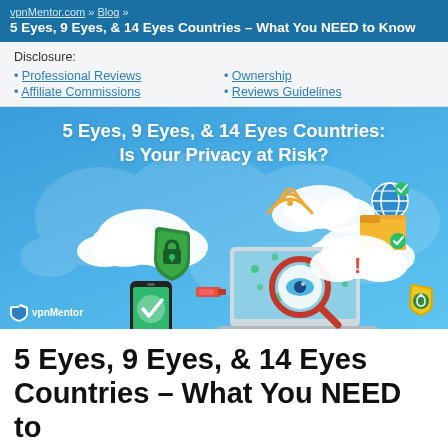vpnMentor.com » Blog » 5 Eyes, 9 Eyes, & 14 Eyes Countries – What You NEED to Know
Disclosure:
• Professional Reviews
• Affiliate Commissions
• Ownership
• Reviews Guidelines
[Figure (illustration): Blue banner with world map background showing title '5 Eyes, 9 Eyes, & 14 Eyes Countries: Is Your Privacy at Risk?' with digital security icons including lock shield, magnifying glass with eye, clouds, laptop, mobile phone, folder, wifi symbol, and globe. vpnMentor logo in bottom left.]
5 Eyes, 9 Eyes, & 14 Eyes Countries – What You NEED to